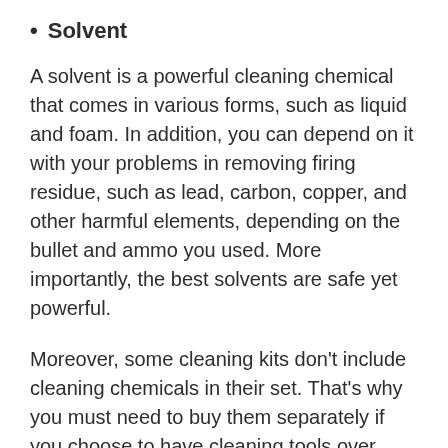Solvent
A solvent is a powerful cleaning chemical that comes in various forms, such as liquid and foam. In addition, you can depend on it with your problems in removing firing residue, such as lead, carbon, copper, and other harmful elements, depending on the bullet and ammo you used. More importantly, the best solvents are safe yet powerful.
Moreover, some cleaning kits don't include cleaning chemicals in their set. That's why you must need to buy them separately if you choose to have cleaning tools over chemicals. With that being said, you must